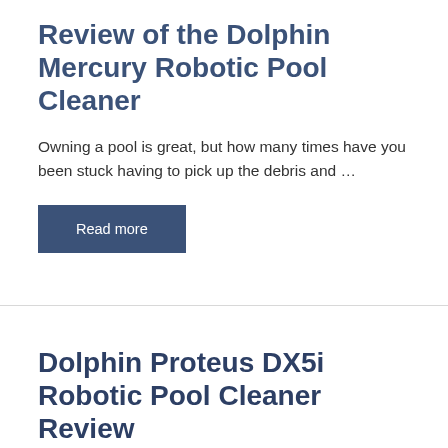Review of the Dolphin Mercury Robotic Pool Cleaner
Owning a pool is great, but how many times have you been stuck having to pick up the debris and …
Read more
Dolphin Proteus DX5i Robotic Pool Cleaner Review